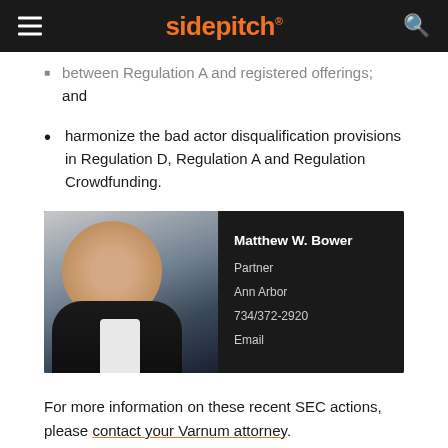sidepitch
between Regulation A and registered offerings; and
harmonize the bad actor disqualification provisions in Regulation D, Regulation A and Regulation Crowdfunding.
[Figure (photo): Professional headshot of Matthew W. Bower, Partner, Ann Arbor, 734/372-2920, Email]
For more information on these recent SEC actions, please contact your Varnum attorney.